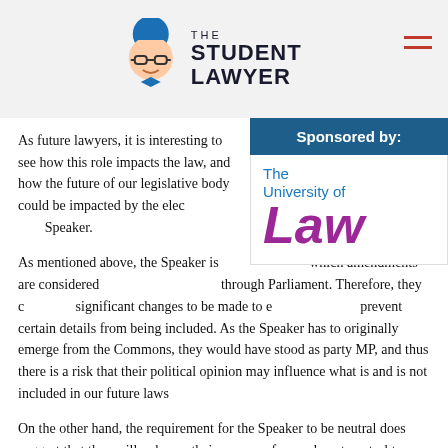THE STUDENT LAWYER
[Figure (logo): The Student Lawyer logo with cartoon character wearing glasses and text 'THE STUDENT LAWYER']
As future lawyers, it is interesting to see how this role impacts the law, and how the future of our legislative body could be impacted by the election of a new Speaker.
[Figure (other): Sponsored by: The University of Law]
As mentioned above, the Speaker is responsible for which amendments are considered and which laws pass through Parliament. Therefore, they can allow significant changes to be made to existing bills, or prevent certain details from being included. As the Speaker has to originally emerge from the Commons, they would have stood as party MP, and thus there is a risk that their political opinion may influence what is and is not included in our future laws
On the other hand, the requirement for the Speaker to be neutral does suggest that they will only use their powers of amendment control to ensure that only productive amendments are considered. So, when lawyers and judges are concerned, only functional laws are passed. Moreover, it is appreciated that our elected MPs in the